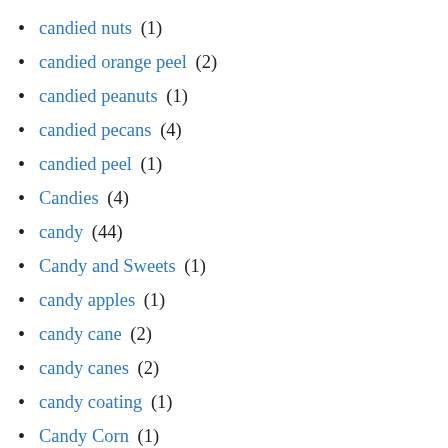candied nuts (1)
candied orange peel (2)
candied peanuts (1)
candied pecans (4)
candied peel (1)
Candies (4)
candy (44)
Candy and Sweets (1)
candy apples (1)
candy cane (2)
candy canes (2)
candy coating (1)
Candy Corn (1)
Candy Making (2)
candy.peanut butter (1)
cane sugar (19)